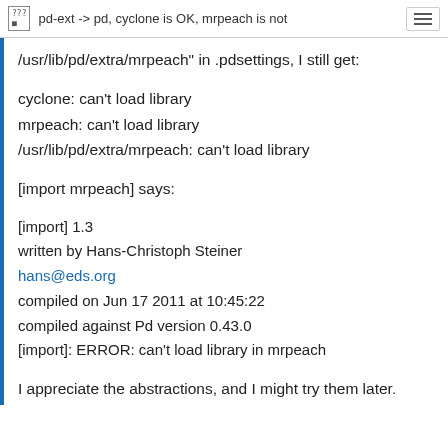pd-ext -> pd, cyclone is OK, mrpeach is not
/usr/lib/pd/extra/mrpeach" in .pdsettings, I still get:
cyclone: can't load library
mrpeach: can't load library
/usr/lib/pd/extra/mrpeach: can't load library
[import mrpeach] says:
[import] 1.3
written by Hans-Christoph Steiner
hans@eds.org
compiled on Jun 17 2011 at 10:45:22
compiled against Pd version 0.43.0
[import]: ERROR: can't load library in mrpeach
I appreciate the abstractions, and I might try them later.